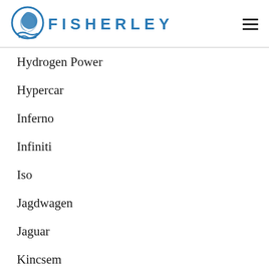FISHERLEY
Hydrogen Power
Hypercar
Inferno
Infiniti
Iso
Jagdwagen
Jaguar
Kincsem
Koenigsegg